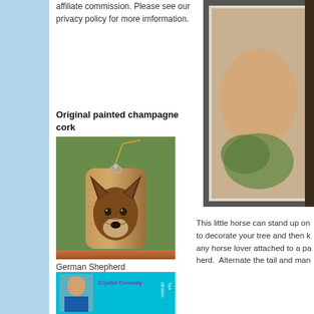affiliate commission. Please see our privacy policy for more imformation.
Original painted champagne cork
[Figure (photo): Photo of a champagne cork painted with a German Shepherd dog face, hanging from a gold cord, placed on a wooden surface with green foliage in the background.]
German Shepherd
[Figure (photo): Book or design team promotional image featuring Crystal Donnelly with cyan/teal background and text 'Crystal Donnelly DESIGN TEA...']
[Figure (photo): Partial photo on the right side of the page showing a framed artwork or photograph of a horse or equestrian subject.]
This little horse can stand up on to decorate your tree and then k any horse lover attached to a pa herd.  Alternate the tail and man